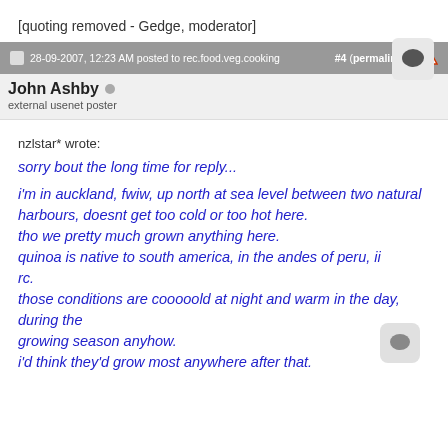[quoting removed - Gedge, moderator]
28-09-2007, 12:23 AM posted to rec.food.veg.cooking  #4 (permalink)
John Ashby
external usenet poster
nzlstar* wrote:
sorry bout the long time for reply...

i'm in auckland, fwiw, up north at sea level between two natural
harbours, doesnt get too cold or too hot here.
tho we pretty much grown anything here.
quinoa is native to south america, in the andes of peru, iirc.
those conditions are cooooold at night and warm in the day, during the
growing season anyhow.
i'd think they'd grow most anywhere after that.